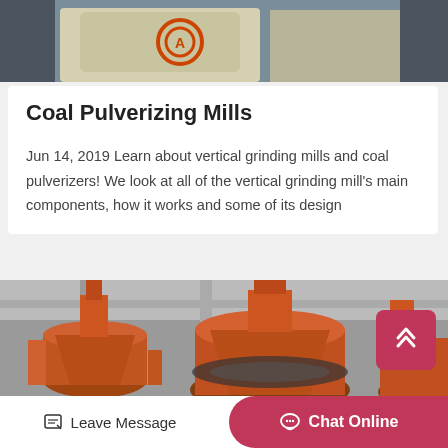[Figure (photo): Top portion of industrial milling/grinding machinery in a factory setting, showing cream/beige colored equipment with an orange circular logo/emblem]
Coal Pulverizing Mills
Jun 14, 2019 Learn about vertical grinding mills and coal pulverizers! We look at all of the vertical grinding mill's main components, how it works and some of its design
[Figure (photo): Orange-colored vertical grinding mill / coal pulverizer machines in an industrial facility, showing large cone-shaped metal equipment]
Leave Message
Chat Online